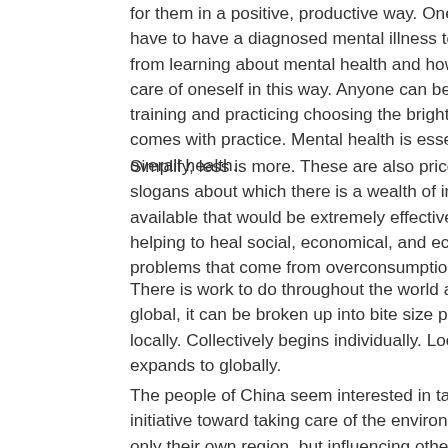for them in a positive, productive way. One does not have to have a diagnosed mental illness to benefit from learning about mental health and how to take care of oneself in this way. Anyone can benefit from training and practicing choosing the bright side. It comes with practice. Mental health is essential to overall health.
Simplify, less is more. These are also priceless slogans about which there is a wealth of information available that would be extremely effective in helping to heal social, economical, and ecological problems that come from overconsumption.
There is work to do throughout the world and while global, it can be broken up into bite size pieces locally. Collectively begins individually. Locally expands to globally.
The people of China seem interested in taking initiative toward taking care of the environment, not only their own region, but influencing other areas also. Every region has